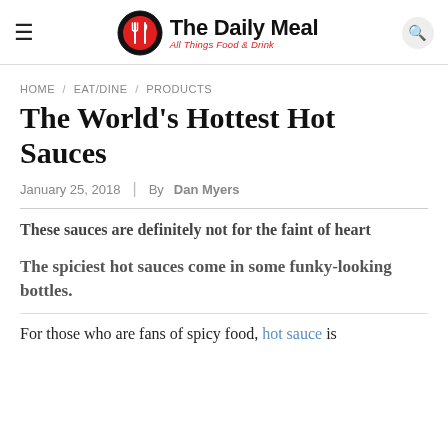The Daily Meal — All Things Food & Drink
HOME / EAT/DINE / PRODUCTS
The World's Hottest Hot Sauces
January 25, 2018 | By Dan Myers
These sauces are definitely not for the faint of heart
The spiciest hot sauces come in some funky-looking bottles.
For those who are fans of spicy food, hot sauce is